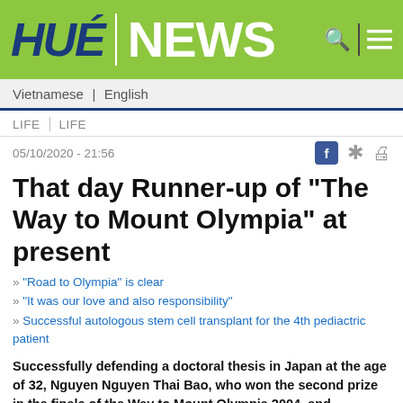HUÉ NEWS
Vietnamese | English
LIFE | LIFE
05/10/2020 - 21:56
That day Runner-up of "The Way to Mount Olympia" at present
"Road to Olympia" is clear
"It was our love and also responsibility"
Successful autologous stem cell transplant for the 4th pediactric patient
Successfully defending a doctoral thesis in Japan at the age of 32, Nguyen Nguyen Thai Bao, who won the second prize in the finale of the Way to Mount Olympia 2004, and champion of "Golden Bell Challenge" nationwide by VTV3,